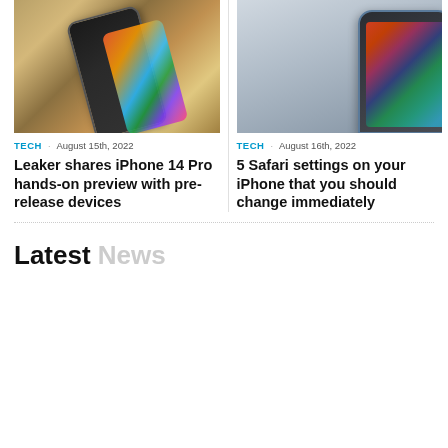[Figure (photo): Photo of iPhone 14 Pro lying on a wooden surface with a stylus beside it, showing home screen with app icons]
TECH · August 15th, 2022
Leaker shares iPhone 14 Pro hands-on preview with pre-release devices
[Figure (photo): Close-up photo of iPhone 13 mini or similar iPhone in blue color showing home screen with app icons]
TECH · August 16th, 2022
5 Safari settings on your iPhone that you should change immediately
Latest News